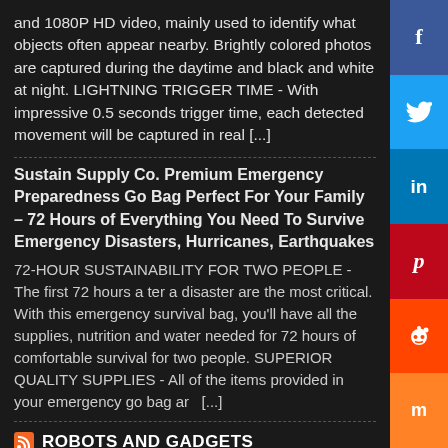and 1080P HD video, mainly used to identify what objects often appear nearby. Brightly colored photos are captured during the daytime and black and white at night. LIGHTNING TRIGGER TIME - With impressive 0.5 seconds trigger time, each detected movement will be captured in real [...]
Sustain Supply Co. Premium Emergency Preparedness Go Bag Perfect For Your Family – 72 Hours of Everything You Need To Survive Emergency Disasters, Hurricanes, Earthquakes
72-HOUR SUSTAINABILITY FOR TWO PEOPLE - The first 72 hours after a disaster are the most critical. With this emergency survival bag, you'll have all the supplies, nutrition and water needed for 72 hours of comfortable survival for two people. SUPERIOR QUALITY SUPPLIES - All of the items provided in your emergency go bag are [...]
ROBOTS AND GADGETS
QYSEA FIFISH V6 ROV Underwater Drone with 4K UHD Camera, VR Headset, Dive to 330ft, 166° FOV, 4000lm LED Support 360° Movement, Posture Lock, Slow Motion, Image Stabilization, APP Real-Time Viewing